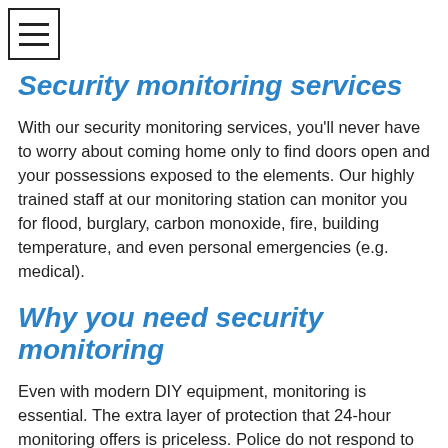[Figure (other): Hamburger menu icon — three horizontal lines inside a square border]
Security monitoring services
With our security monitoring services, you'll never have to worry about coming home only to find doors open and your possessions exposed to the elements. Our highly trained staff at our monitoring station can monitor you for flood, burglary, carbon monoxide, fire, building temperature, and even personal emergencies (e.g. medical).
Why you need security monitoring
Even with modern DIY equipment, monitoring is essential. The extra layer of protection that 24-hour monitoring offers is priceless. Police do not respond to end users calling in an alarm that was sent to them by a DYI system. A burglar does there homework and typically knows a DIY system f…